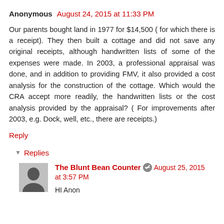Anonymous August 24, 2015 at 11:33 PM
Our parents bought land in 1977 for $14,500 ( for which there is a receipt). They then built a cottage and did not save any original receipts, although handwritten lists of some of the expenses were made. In 2003, a professional appraisal was done, and in addition to providing FMV, it also provided a cost analysis for the construction of the cottage. Which would the CRA accept more readily, the handwritten lists or the cost analysis provided by the appraisal? ( For improvements after 2003, e.g. Dock, well, etc., there are receipts.)
Reply
Replies
The Blunt Bean Counter August 25, 2015 at 3:57 PM
HI Anon